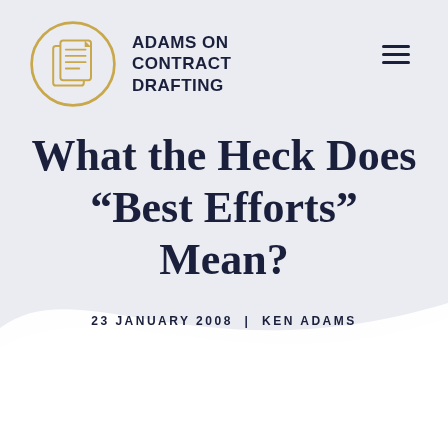[Figure (logo): Adams on Contract Drafting logo: circular gold/tan outline with stacked document pages icon, next to bold text 'ADAMS ON CONTRACT DRAFTING']
What the Heck Does “Best Efforts” Mean?
23 JANUARY 2008 | KEN ADAMS